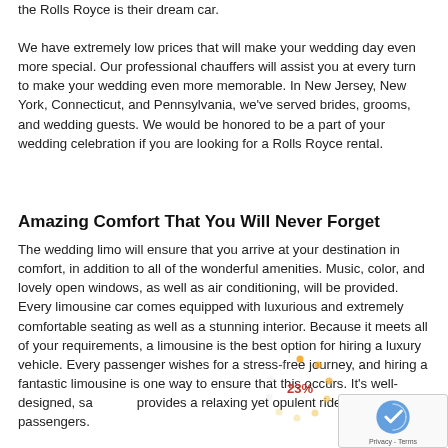the Rolls Royce is their dream car.
We have extremely low prices that will make your wedding day even more special. Our professional chauffers will assist you at every turn to make your wedding even more memorable. In New Jersey, New York, Connecticut, and Pennsylvania, we've served brides, grooms, and wedding guests. We would be honored to be a part of your wedding celebration if you are looking for a Rolls Royce rental.
Amazing Comfort That You Will Never Forget
The wedding limo will ensure that you arrive at your destination in comfort, in addition to all of the wonderful amenities. Music, color, and lovely open windows, as well as air conditioning, will be provided. Every limousine car comes equipped with luxurious and extremely comfortable seating as well as a stunning interior. Because it meets all of your requirements, a limousine is the best option for hiring a luxury vehicle. Every passenger wishes for a stress-free journey, and hiring a fantastic limousine is one way to ensure that this occurs. It's well-designed, safe, and provides a relaxing yet opulent ride for passengers.